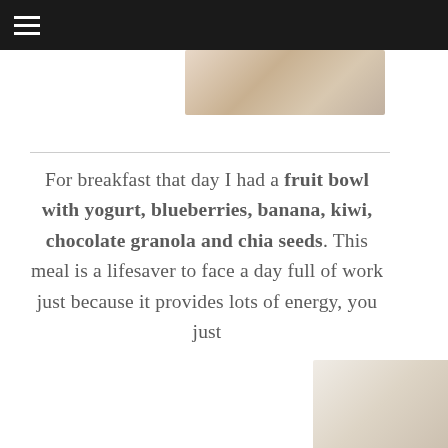[Figure (photo): Partial food photo at top, showing what appears to be a breakfast dish]
For breakfast that day I had a fruit bowl with yogurt, blueberries, banana, kiwi, chocolate granola and chia seeds. This meal is a lifesaver to face a day full of work just because it provides lots of energy, you just
[Figure (photo): Partial food photo at bottom right, showing what appears to be a breakfast item]